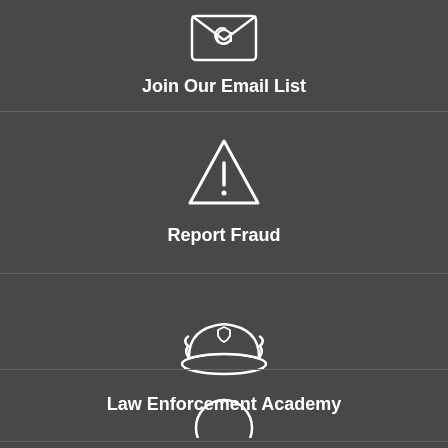[Figure (illustration): Email envelope icon with @ symbol, white outline on dark background]
Join Our Email List
[Figure (illustration): Warning triangle icon with exclamation mark, white outline on dark background]
Report Fraud
[Figure (illustration): Police officer cap icon with badge, white outline on dark background]
Law Enforcement Academy
[Figure (illustration): Circle icon, white outline on dark background, partially visible at bottom]